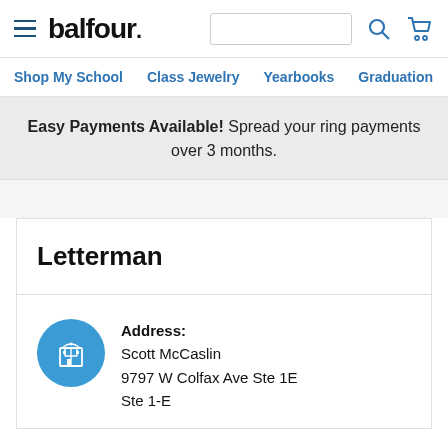balfour.
Shop My School  Class Jewelry  Yearbooks  Graduation  Sc
Easy Payments Available! Spread your ring payments over 3 months.
Letterman
Address:
Scott McCaslin
9797 W Colfax Ave Ste 1E
Ste 1-E